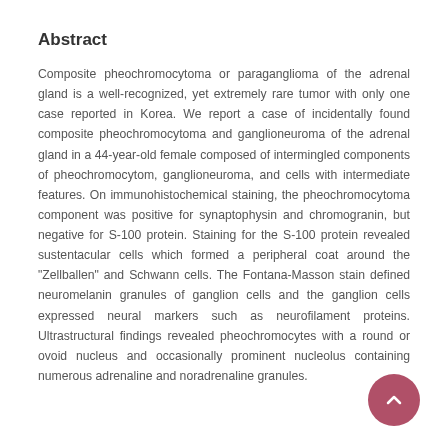Abstract
Composite pheochromocytoma or paraganglioma of the adrenal gland is a well-recognized, yet extremely rare tumor with only one case reported in Korea. We report a case of incidentally found composite pheochromocytoma and ganglioneuroma of the adrenal gland in a 44-year-old female composed of intermingled components of pheochromocytom, ganglioneuroma, and cells with intermediate features. On immunohistochemical staining, the pheochromocytoma component was positive for synaptophysin and chromogranin, but negative for S-100 protein. Staining for the S-100 protein revealed sustentacular cells which formed a peripheral coat around the "Zellballen" and Schwann cells. The Fontana-Masson stain defined neuromelanin granules of ganglion cells and the ganglion cells expressed neural markers such as neurofilament proteins. Ultrastructural findings revealed pheochromocytes with a round or ovoid nucleus and occasionally prominent nucleolus containing numerous adrenaline and noradrenaline granules.